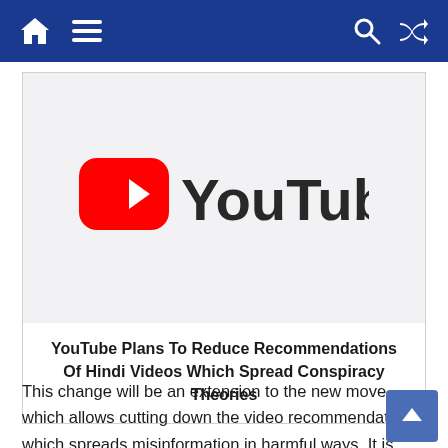Navigation bar with home, menu, search, and shuffle icons
[Figure (logo): YouTube logo — red rounded rectangle with white play triangle, followed by bold 'YouTube' text in dark color]
YouTube Plans To Reduce Recommendations Of Hindi Videos Which Spread Conspiracy Theories
This change will be an extension to the new move which allows cutting down the video recommendations which spreads misinformation in harmful ways. It is called "borderline" content. With the new change, YouTube is trying to address the concern of